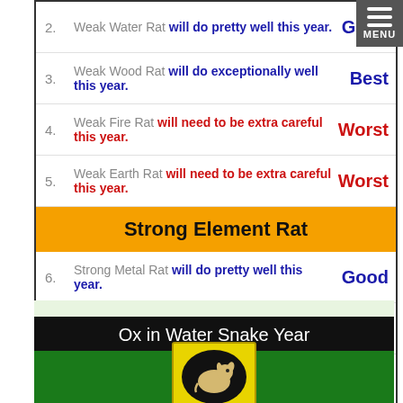2. Weak Water Rat will do pretty well this year. Good
3. Weak Wood Rat will do exceptionally well this year. Best
4. Weak Fire Rat will need to be extra careful this year. Worst
5. Weak Earth Rat will need to be extra careful this year. Worst
Strong Element Rat
6. Strong Metal Rat will do pretty well this year. Good
7. Strong Water Rat will need to be careful this year. Bad
8. Strong Wood Rat will need to be extra careful this year. Worst
9. Strong Fire Rat will do pretty well this year. Good
10. Strong Earth Rat will do exceptionally well this year. Best
Ox in Water Snake Year
[Figure (photo): Photo of an ox/rat animal on yellow background with black oval, on green background]